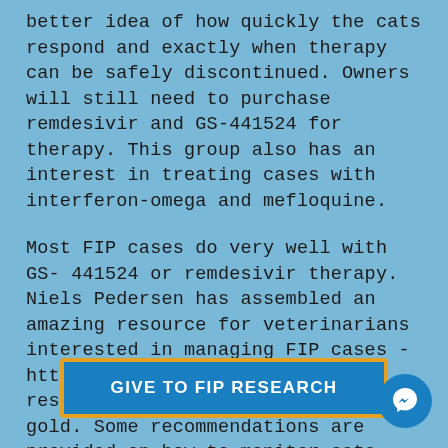better idea of how quickly the cats respond and exactly when therapy can be safely discontinued. Owners will still need to purchase remdesivir and GS-441524 for therapy. This group also has an interest in treating cases with interferon-omega and mefloquine.
Most FIP cases do very well with GS- 441524 or remdesivir therapy. Niels Pedersen has assembled an amazing resource for veterinarians interested in managing FIP cases - https://sockfip.org/dr-pedersen-research/. The website is pure gold. Some recommendations are provided on how to monitor cats during therapy. I am not very protocol driven, so for me the key things to monitor are appetite, attitude, level of activity and change body weight ... st clinicians ... nd serum